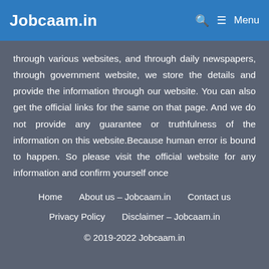Jobcaam.in — Menu
through various websites, and through daily newspapers, through government website, we store the details and provide the information through our website. You can also get the official links for the same on that page. And we do not provide any guarantee or truthfulness of the information on this website.Because human error is bound to happen. So please visit the official website for any information and confirm yourself once
Home   About us – Jobcaam.in   Contact us   Privacy Policy   Disclaimer – Jobcaam.in   © 2019-2022 Jobcaam.in